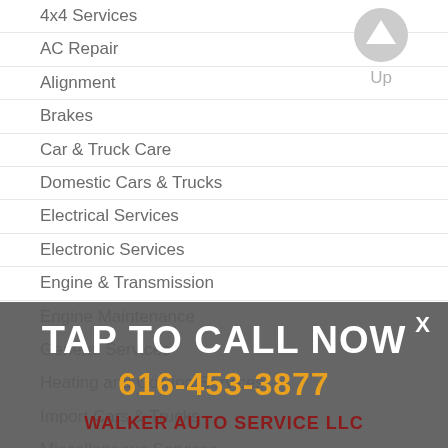4x4 Services
AC Repair
Alignment
Brakes
Car & Truck Care
Domestic Cars & Trucks
Electrical Services
Electronic Services
Engine & Transmission
Engine Maintenance
General Services
Heating and Cooling Services
Import Cars & Trucks
Miscellaneous Services
Quick Lube Services
Tires
Towing
Transmission Services
Undercar Services
TAP TO CALL NOW
616-453-3877
WALKER AUTO SERVICE LLC